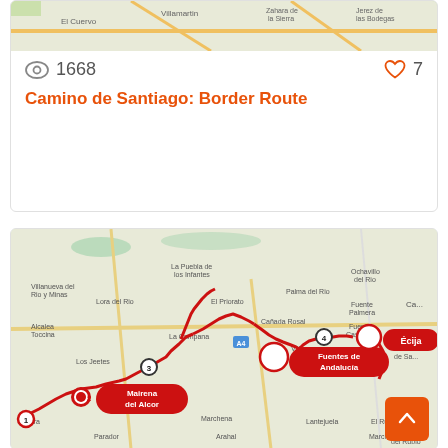[Figure (map): Top portion of a map showing a region of Spain near Jerez de las Bodegas, El Cuervo area]
1668
7
Camino de Santiago: Border Route
[Figure (map): Map of Andalucia region in Spain showing a red route from point 1 (start) through Mairena del Alcor (2), Carmona area (3), point 4 near Villafranca, Fuentes de Andalucía, and Écija. The route is drawn in red with numbered waypoints and labeled stop badges.]